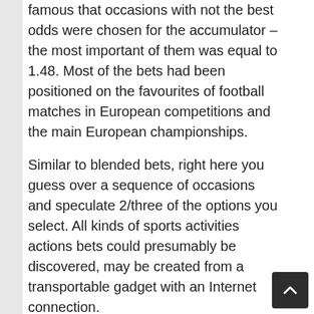famous that occasions with not the best odds were chosen for the accumulator – the most important of them was equal to 1.48. Most of the bets had been positioned on the favourites of football matches in European competitions and the main European championships.
Similar to blended bets, right here you guess over a sequence of occasions and speculate 2/three of the options you select. All kinds of sports activities actions bets could presumably be discovered, may be created from a transportable gadget with an Internet connection.
The money was instantly credited to the gaming account – there was zero, after which the quantity that you simply already find out